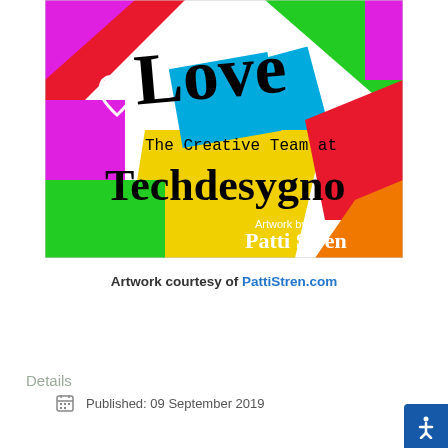[Figure (illustration): Colorful artwork showing the word 'Love' in hand-drawn script over a collage of bright colored geometric shapes (red, green, blue, yellow, magenta, cyan, orange). Text reads 'The Creative Team at Techdesygno' with 'Artwork by Patti Stren' in the bottom right. White hand-drawn hearts on the left side.]
Artwork courtesy of PattiStren.com
Details
Published: 09 September 2019